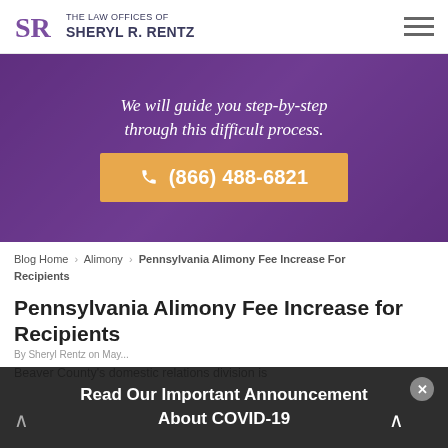[Figure (logo): The Law Offices of Sheryl R. Rentz logo with SR monogram]
[Figure (photo): Purple-tinted hero banner with italic white text and orange phone button]
We will guide you step-by-step through this difficult process.
(866) 488-6821
Blog Home > Alimony > Pennsylvania Alimony Fee Increase For Recipients
Pennsylvania Alimony Fee Increase for Recipients
By Sheryl Rentz on May ...
Beaver County's domestic relations division is
Read Our Important Announcement About COVID-19